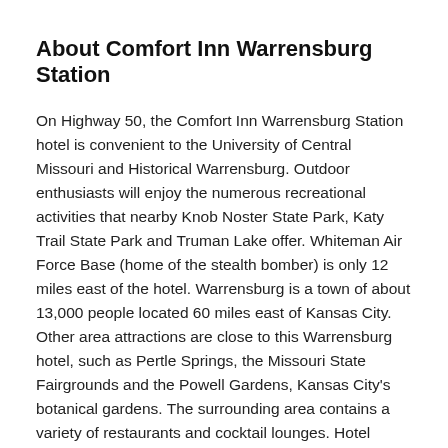About Comfort Inn Warrensburg Station
On Highway 50, the Comfort Inn Warrensburg Station hotel is convenient to the University of Central Missouri and Historical Warrensburg. Outdoor enthusiasts will enjoy the numerous recreational activities that nearby Knob Noster State Park, Katy Trail State Park and Truman Lake offer. Whiteman Air Force Base (home of the stealth bomber) is only 12 miles east of the hotel. Warrensburg is a town of about 13,000 people located 60 miles east of Kansas City. Other area attractions are close to this Warrensburg hotel, such as Pertle Springs, the Missouri State Fairgrounds and the Powell Gardens, Kansas City's botanical gardens. The surrounding area contains a variety of restaurants and cocktail lounges. Hotel amenities include free high-speed Internet access, free local calls and free weekday newspapers. Your Morning Breakfast is full of hot and delicious options, including breakfast of the